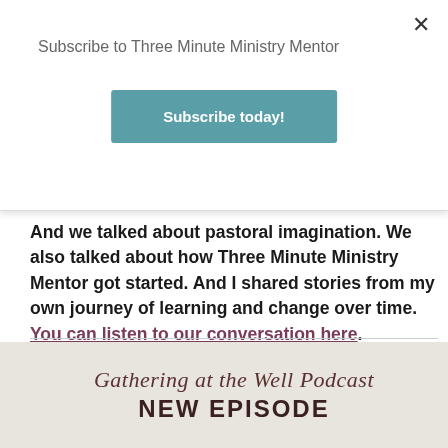Subscribe to Three Minute Ministry Mentor
Subscribe today!
And we talked about pastoral imagination. We also talked about how Three Minute Ministry Mentor got started. And I shared stories from my own journey of learning and change over time. You can listen to our conversation here.
[Figure (screenshot): Gathering at the Well Podcast NEW EPISODE promotional image with light beige background and script/serif typography]